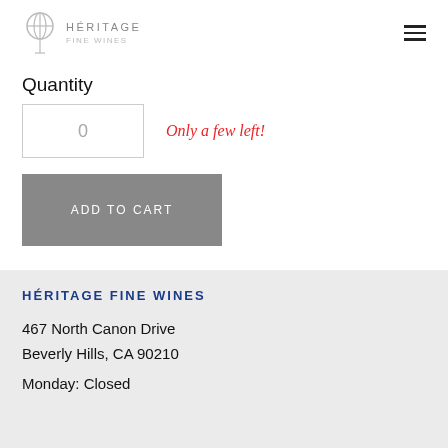HÉRITAGE FINE WINES
Quantity
0   Only a few left!
ADD TO CART
HÉRITAGE FINE WINES
467 North Canon Drive
Beverly Hills, CA 90210
Monday: Closed